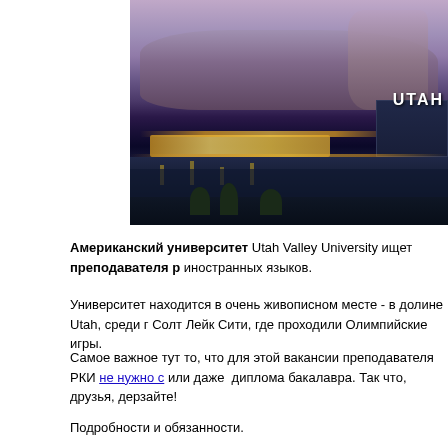[Figure (photo): Nighttime/dusk photo of Utah Valley University campus with snow-capped mountains (tinged purple/pink) in the background and illuminated buildings in the foreground. 'UTAH' text visible on building at right.]
Американский университет Utah Valley University ищет преподавателя р иностранных языков.
Университет находится в очень живописном месте - в долине Utah, среди г Солт Лейк Сити, где проходили Олимпийские игры.
Самое важное тут то, что для этой вакансии преподавателя РКИ не нужно с или даже  диплома бакалавра. Так что, друзья, дерзайте!
Подробности и обязанности.